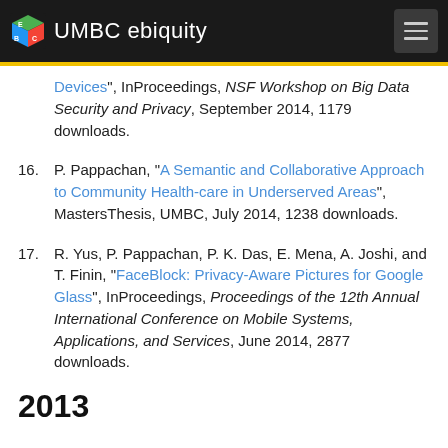UMBC ebiquity
Devices", InProceedings, NSF Workshop on Big Data Security and Privacy, September 2014, 1179 downloads.
16. P. Pappachan, "A Semantic and Collaborative Approach to Community Health-care in Underserved Areas", MastersThesis, UMBC, July 2014, 1238 downloads.
17. R. Yus, P. Pappachan, P. K. Das, E. Mena, A. Joshi, and T. Finin, "FaceBlock: Privacy-Aware Pictures for Google Glass", InProceedings, Proceedings of the 12th Annual International Conference on Mobile Systems, Applications, and Services, June 2014, 2877 downloads.
2013